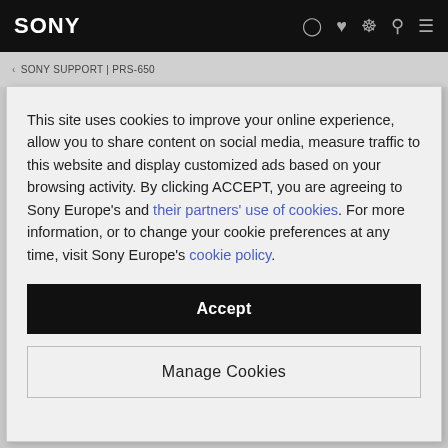SONY
< SONY SUPPORT | PRS-650
This site uses cookies to improve your online experience, allow you to share content on social media, measure traffic to this website and display customized ads based on your browsing activity. By clicking ACCEPT, you are agreeing to Sony Europe's and their partners' use of cookies. For more information, or to change your cookie preferences at any time, visit Sony Europe's cookie policy.
Accept
Manage Cookies